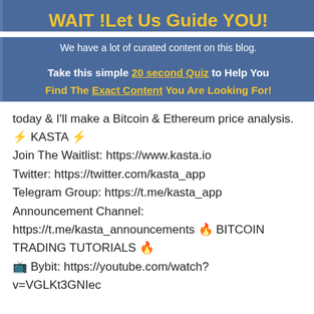WAIT !Let Us Guide YOU!
We have a lot of curated content on this blog.
Take this simple 20 second Quiz to Help You Find The Exact Content You Are Looking For!
today & I'll make a Bitcoin & Ethereum price analysis. ⚡ KASTA ⚡
Join The Waitlist: https://www.kasta.io
Twitter: https://twitter.com/kasta_app
Telegram Group: https://t.me/kasta_app
Announcement Channel:
https://t.me/kasta_announcements 🔥 BITCOIN TRADING TUTORIALS 🔥
📺 Bybit: https://youtube.com/watch?v=VGLKt3GNIec